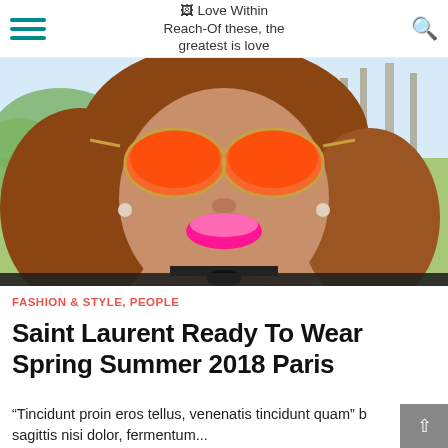Love Within Reach-Of these, the greatest is love
[Figure (photo): Close-up portrait of a woman with long auburn hair, wearing orange mirrored aviator sunglasses, bright pink lipstick, a black choker necklace/bow, and a black top. Trees and sky in background.]
FASHION & STYLE, PEOPLE
Saint Laurent Ready To Wear Spring Summer 2018 Paris
“Tincidunt proin eros tellus, venenatis tincidunt quam” b sagittis nisi dolor, fermentum...